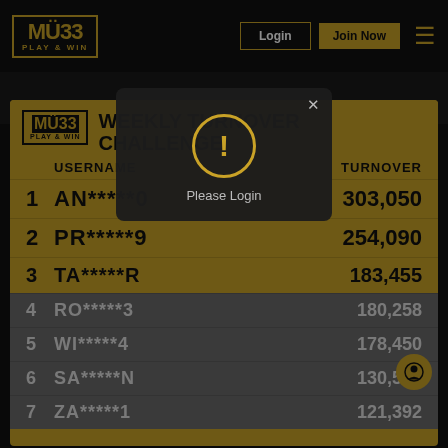[Figure (screenshot): MU33 Play & Win logo in top-left navigation bar]
Login
Join Now
[Figure (logo): MU33 PLAY & WIN logo inside the leaderboard panel]
WEEKLY TURNOVER CHALLENGE
| # | USERNAME | TURNOVER |
| --- | --- | --- |
| 1 | AN*****0 | 303,050 |
| 2 | PR*****9 | 254,090 |
| 3 | TA*****R | 183,455 |
| 4 | RO*****3 | 180,258 |
| 5 | WI*****4 | 178,450 |
| 6 | SA*****N | 130,587 |
| 7 | ZA*****1 | 121,392 |
Please Login